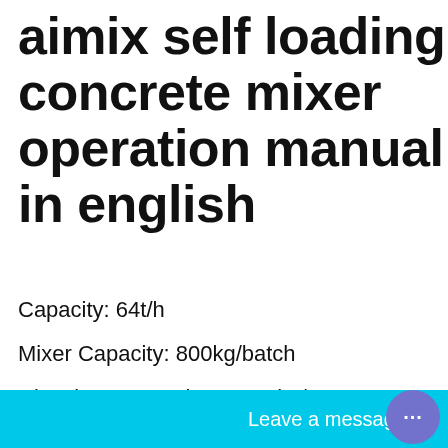aimix self loading concrete mixer operation manual in english
Capacity: 64t/h
Mixer Capacity: 800kg/batch
Diesel Consumption: 5.5-7kg/t
Installed Power: 158kW
Plant Covering A